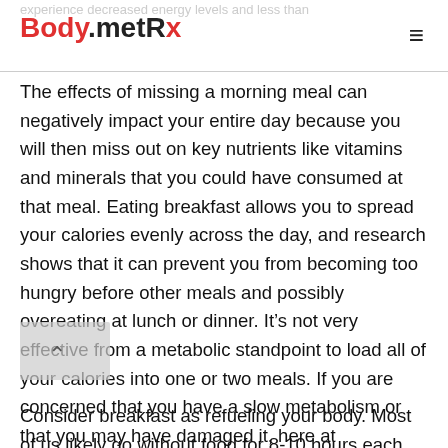BodymetRx
The effects of missing a morning meal can negatively impact your entire day because you will then miss out on key nutrients like vitamins and minerals that you could have consumed at that meal. Eating breakfast allows you to spread your calories evenly across the day, and research shows that it can prevent you from becoming too hungry before other meals and possibly overeating at lunch or dinner. It's not very effective from a metabolic standpoint to load all of your calories into one or two meals. If you are concerned that you have a slow metabolism or that you may have damaged it, here at BodymetRx, we can help uncover the truth with personal metabolism test.
Consider breakfast as refueling your body. Most of us likely go without food for 8-10 hours each night.